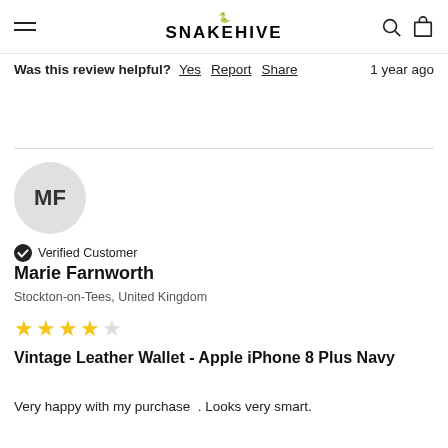SNAKEHIVE
Was this review helpful? Yes Report Share  1 year ago
[Figure (other): User avatar circle with initials MF on grey background]
Verified Customer
Marie Farnworth
Stockton-on-Tees, United Kingdom
[Figure (other): 4 out of 5 stars rating]
Vintage Leather Wallet - Apple iPhone 8 Plus Navy
Very happy with my purchase  . Looks very smart.